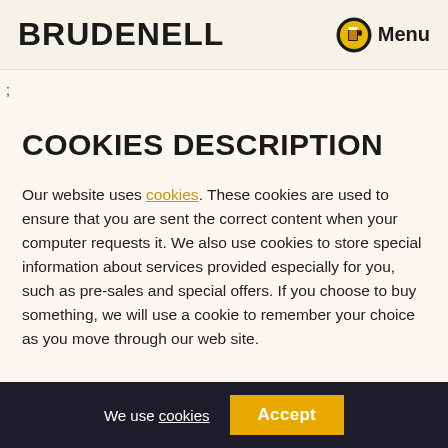BRUDENELL  Menu
;
COOKIES DESCRIPTION
Our website uses cookies. These cookies are used to ensure that you are sent the correct content when your computer requests it. We also use cookies to store special information about services provided especially for you, such as pre-sales and special offers. If you choose to buy something, we will use a cookie to remember your choice as you move through our web site.
We use cookies   Accept